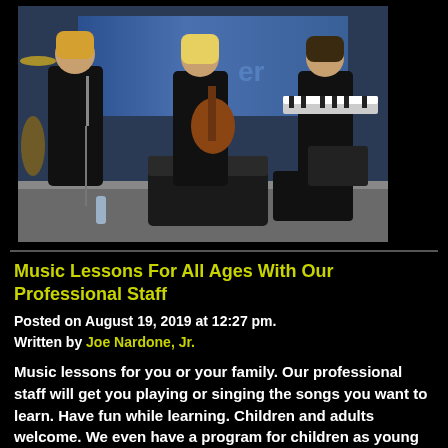[Figure (photo): Three young musicians performing outdoors on a stage. Left person holding a microphone in black t-shirt and jeans. Center person playing bass guitar in black t-shirt. Right person at a keyboard in black t-shirt. Stage equipment and speakers visible.]
Music Lessons For All Ages With Our Professional Staff
Posted on August 19, 2019 at 12:27 pm.
Written by Joe Nardone, Jr.
Music lessons for you or your family. Our professional staff will get you playing or singing the songs you want to learn. Have fun while learning. Children and adults welcome. We even have a program for children as young as 4 years old.